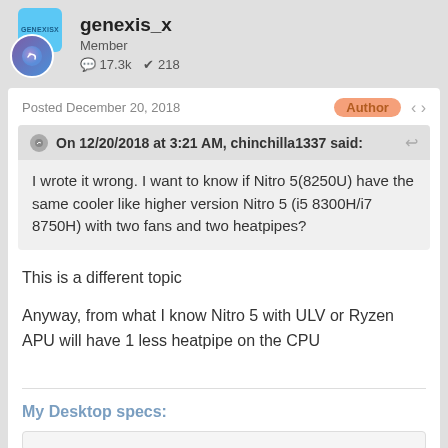genexis_x
Member
17.3k  218
Posted December 20, 2018
On 12/20/2018 at 3:21 AM, chinchilla1337 said:
I wrote it wrong. I want to know if Nitro 5(8250U) have the same cooler like higher version Nitro 5 (i5 8300H/i7 8750H) with two fans and two heatpipes?
This is a different topic
Anyway, from what I know Nitro 5 with ULV or Ryzen APU will have 1 less heatpipe on the CPU
My Desktop specs: